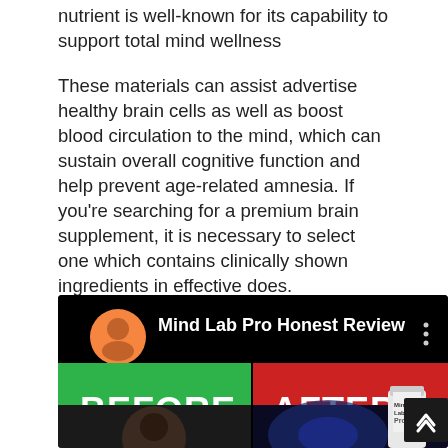nutrient is well-known for its capability to support total mind wellness
These materials can assist advertise healthy brain cells as well as boost blood circulation to the mind, which can sustain overall cognitive function and help prevent age-related amnesia. If you’re searching for a premium brain supplement, it is necessary to select one which contains clinically shown ingredients in effective does.
MIND LAB PRO FOCUS SUPPLEMENT
[Figure (screenshot): YouTube-style video thumbnail for 'Mind Lab Pro Honest Review' showing a man in orange circle avatar, BEFORE label on green background and AFTER label on red background, with a supplement bottle visible on right side.]